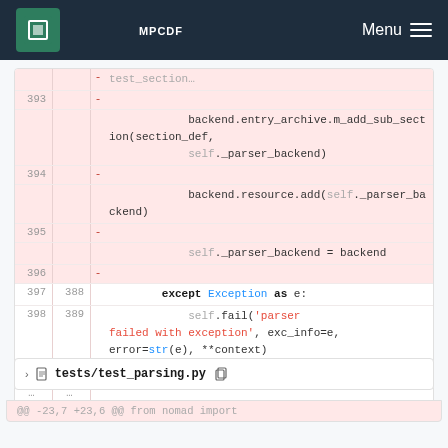MPCDF  Menu
[Figure (screenshot): Git diff view showing removed lines 393-396 with code: backend.entry_archive.m_add_sub_section(section_def, self._parser_backend), backend.resource.add(self._parser_backend), self._parser_backend = backend. Context lines 397/388: except Exception as e:, 398/389: self.fail('parser failed with exception', exc_info=e, error=str(e), **context), 399/390: return]
tests/test_parsing.py
@@ -23,7 +23,6 @@ from nomad import